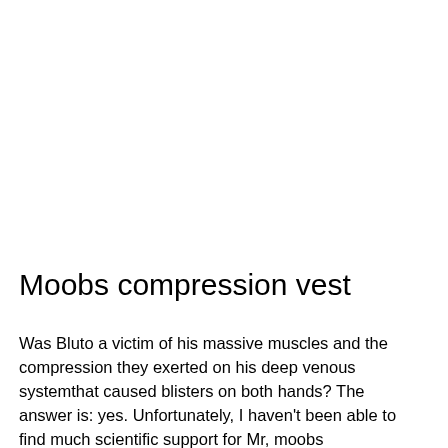Moobs compression vest
Was Bluto a victim of his massive muscles and the compression they exerted on his deep venous systemthat caused blisters on both hands? The answer is: yes. Unfortunately, I haven't been able to find much scientific support for Mr, moobs compression vest. Bluto's injury claim, but I'd be curious about it, moobs compression